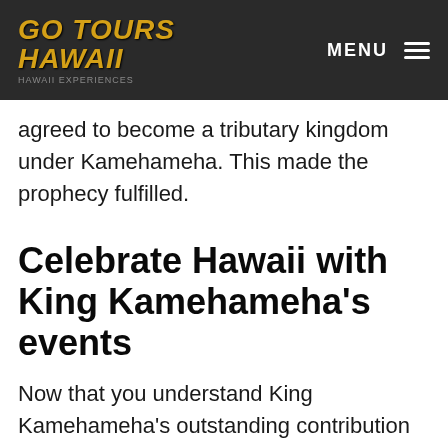GO TOURS HAWAII
agreed to become a tributary kingdom under Kamehameha. This made the prophecy fulfilled.
Celebrate Hawaii with King Kamehameha's events
Now that you understand King Kamehameha's outstanding contribution to the Hawaiian islands, it is time to have fun and experience an authentic Hawaiian vacation by attending the events held for his name.